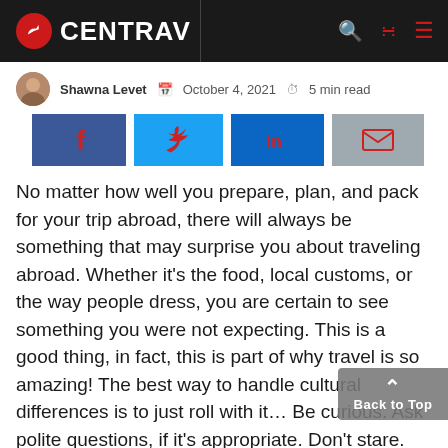CENTRAV
Shawna Levet  October 4, 2021  5 min read
[Figure (other): Social share buttons: Facebook, Twitter, LinkedIn, Email]
No matter how well you prepare, plan, and pack for your trip abroad, there will always be something that may surprise you about traveling abroad. Whether it’s the food, local customs, or the way people dress, you are certain to see something you were not expecting. This is a good thing, in fact, this is part of why travel is so amazing! The best way to handle cultural differences is to just roll with it… Be curious. Ask polite questions, if it’s appropriate. Don’t stare. Enjoy!